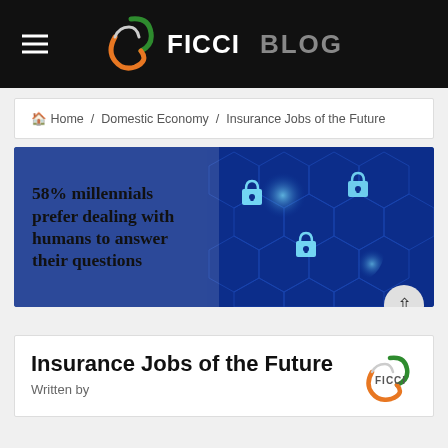FICCI BLOG
Home / Domestic Economy / Insurance Jobs of the Future
[Figure (infographic): Banner image with blue hexagonal cyber security background with glowing padlock icons and text overlay: '58% millennials prefer dealing with humans to answer their questions']
Insurance Jobs of the Future
Written by